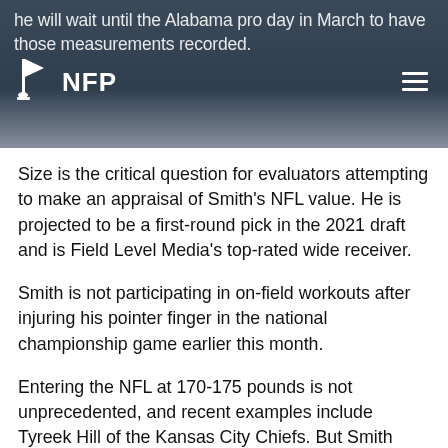he will wait until the Alabama pro day in March to have those measurements recorded.
[Figure (logo): NFP (National Football Post) logo with football field icon and hamburger menu icon]
Size is the critical question for evaluators attempting to make an appraisal of Smith's NFL value. He is projected to be a first-round pick in the 2021 draft and is Field Level Media's top-rated wide receiver.
Smith is not participating in on-field workouts after injuring his pointer finger in the national championship game earlier this month.
Entering the NFL at 170-175 pounds is not unprecedented, and recent examples include Tyreek Hill of the Kansas City Chiefs. But Smith also was clocked at 4.21 seconds in the 40-yard dash at the South Alabama pro day.
Smith caught 117 passes for 1,856 yards and 23 touchdowns as a senior at Alabama. Smith also led the team